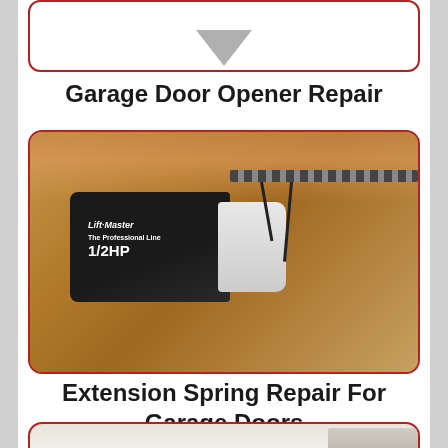[Figure (photo): Partial view of a card with a downward-pointing gray arrow/chevron shape at the top of the page]
Garage Door Opener Repair
[Figure (photo): A LiftMaster 1/2 HP garage door opener motor unit mounted to ceiling, shown from below with wiring and drive rail visible, wood framing in background]
Extension Spring Repair For Garage Doors
[Figure (photo): Partial view of a garage door panel at the bottom of the page, cropped]